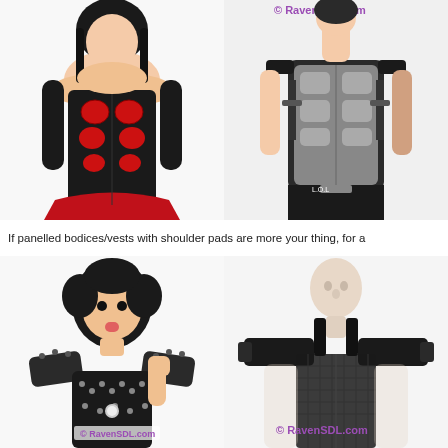[Figure (photo): Top-left: Female model wearing a black leather corset with red mesh panels arranged in a segmented pattern, paired with a red skirt and black gloves. White background.]
[Figure (photo): Top-right: Person wearing a gray and black tactical/armored vest with molded panels, black pants and straps. Partial watermark 'RavenSDL.com' visible at top.]
If panelled bodices/vests with shoulder pads are more your thing, for a
[Figure (photo): Bottom-left: Female model with short dark curly hair sticking out tongue, wearing a black studded bodice/corset with large shoulder pads. Watermark 'RavenSDL.com' visible.]
[Figure (photo): Bottom-right: Mannequin wearing a black mesh/sheer vest top with wide structural shoulder pieces. Watermark '© RavenSDL.com' visible.]